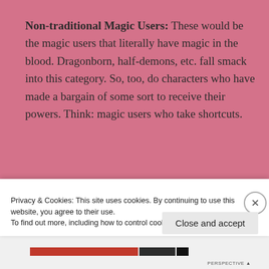Non-traditional Magic Users: These would be the magic users that literally have magic in the blood. Dragonborn, half-demons, etc. fall smack into this category. So, too, do characters who have made a bargain of some sort to receive their powers. Think: magic users who take shortcuts.
Witty and Sarcastic Bookclub weighs in: "Magnus
Privacy & Cookies: This site uses cookies. By continuing to use this website, you agree to their use.
To find out more, including how to control cookies, see here: Cookie Policy